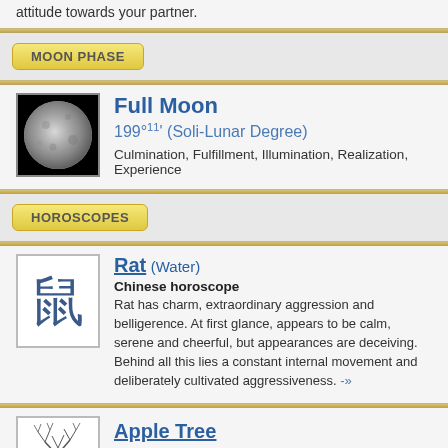attitude towards your partner.
MOON PHASE
[Figure (photo): Full moon photograph on black background]
Full Moon
199°11' (Soli-Lunar Degree)
Culmination, Fulfillment, Illumination, Realization, Experience
HOROSCOPES
[Figure (illustration): Chinese character for Rat in blue ink style]
Rat (Water)
Chinese horoscope
Rat has charm, extraordinary aggression and belligerence. At first glance, appears to be calm, serene and cheerful, but appearances are deceiving. Behind all this lies a constant internal movement and deliberately cultivated aggressiveness. -»
[Figure (illustration): Tree illustration for Apple Tree]
Apple Tree